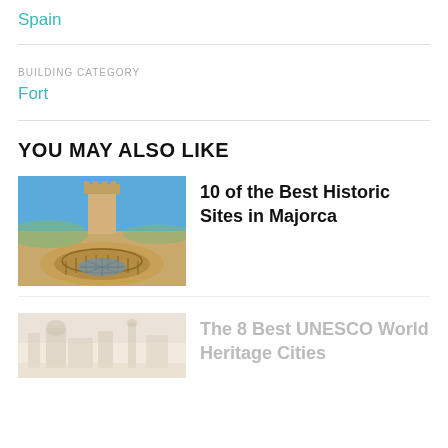Spain
BUILDING CATEGORY
Fort
YOU MAY ALSO LIKE
[Figure (photo): Aerial view of a circular historic castle/fort in Majorca with a cylindrical tower, round courtyard with arches, under blue sky]
10 of the Best Historic Sites in Majorca
[Figure (photo): Partial/faded view of a UNESCO world heritage city with historic architecture]
The 8 Best UNESCO World Heritage Cities